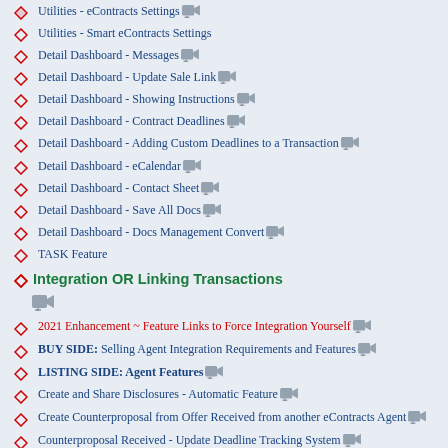Utilities - eContracts Settings
Utilities - Smart eContracts Settings
Detail Dashboard - Messages
Detail Dashboard - Update Sale Link
Detail Dashboard - Showing Instructions
Detail Dashboard - Contract Deadlines
Detail Dashboard - Adding Custom Deadlines to a Transaction
Detail Dashboard - eCalendar
Detail Dashboard - Contact Sheet
Detail Dashboard - Save All Docs
Detail Dashboard - Docs Management Convert
TASK Feature
Integration OR Linking Transactions
2021 Enhancement ~ Feature Links to Force Integration Yourself
BUY SIDE: Selling Agent Integration Requirements and Features
LISTING SIDE: Agent Features
Create and Share Disclosures - Automatic Feature
Create Counterproposal from Offer Received from another eContracts Agent
Counterproposal Received - Update Deadline Tracking System